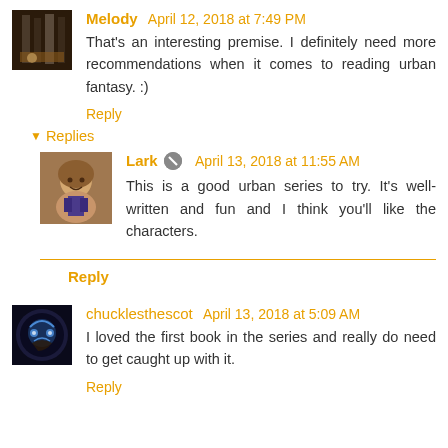Melody April 12, 2018 at 7:49 PM
That's an interesting premise. I definitely need more recommendations when it comes to reading urban fantasy. :)
Reply
Replies
Lark April 13, 2018 at 11:55 AM
This is a good urban series to try. It's well-written and fun and I think you'll like the characters.
Reply
chucklesthescot April 13, 2018 at 5:09 AM
I loved the first book in the series and really do need to get caught up with it.
Reply